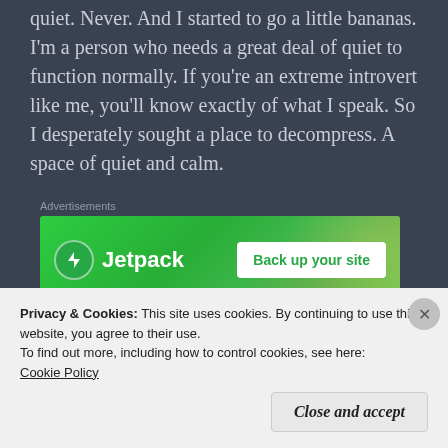quiet.  Never.  And I started to go a little bananas.  I'm a person who needs a great deal of quiet to function normally.  If you're an extreme introvert like me, you'll know exactly of what I speak.  So I desperately sought a place to decompress.  A space of quiet and calm.
Advertisements
[Figure (other): Jetpack advertisement banner with green background, Jetpack logo and lightning bolt icon on left, and 'Back up your site' button on right]
One day, it occurred to me that the city public
Privacy & Cookies: This site uses cookies. By continuing to use this website, you agree to their use.
To find out more, including how to control cookies, see here:
Cookie Policy
Close and accept